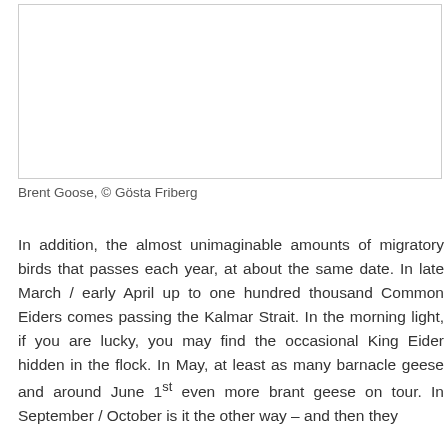[Figure (photo): Photo of a Brent Goose by Gösta Friberg (white blank area shown in this page crop)]
Brent Goose, © Gösta Friberg
In addition, the almost unimaginable amounts of migratory birds that passes each year, at about the same date. In late March / early April up to one hundred thousand Common Eiders comes passing the Kalmar Strait. In the morning light, if you are lucky, you may find the occasional King Eider hidden in the flock. In May, at least as many barnacle geese and around June 1st even more brant geese on tour. In September / October is it the other way – and then they